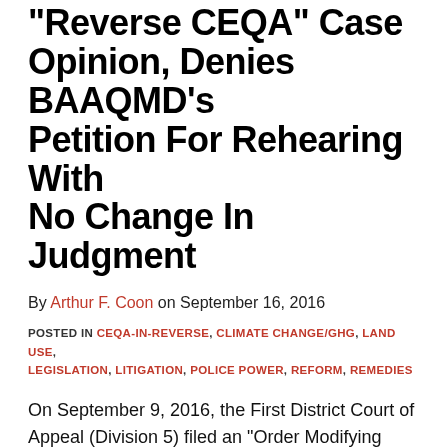"Reverse CEQA" Case Opinion, Denies BAAQMD's Petition For Rehearing With No Change In Judgment
By Arthur F. Coon on September 16, 2016
POSTED IN CEQA-IN-REVERSE, CLIMATE CHANGE/GHG, LAND USE, LEGISLATION, LITIGATION, POLICE POWER, REFORM, REMEDIES
On September 9, 2016, the First District Court of Appeal (Division 5) filed an “Order Modifying Opinion and Denying Rehearing [No Change In Judgment]” in California Building Industry Association v. Bay Area Air Quality Management District, Case. Nos. A135335 & A136212.  My post on the Court of Appeal’s published opinion in the case, which was filed on August 12, 2015 following remand from a landmark Supreme Court